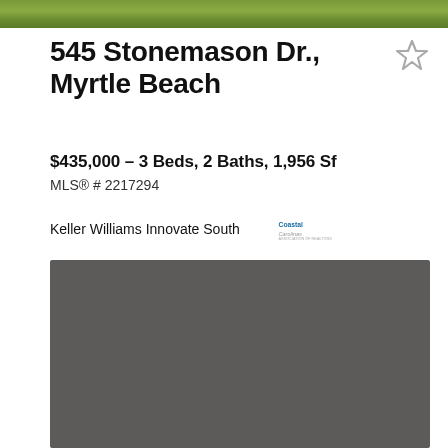[Figure (photo): Aerial or exterior photo of property, green/landscape tones, cropped strip at top]
545 Stonemason Dr., Myrtle Beach
$435,000 - 3 Beds, 2 Baths, 1,956 Sf
MLS® # 2217294
Keller Williams Innovate South [Coastal Carolinas logo]
[Figure (photo): Gray placeholder rectangle representing a property photo]